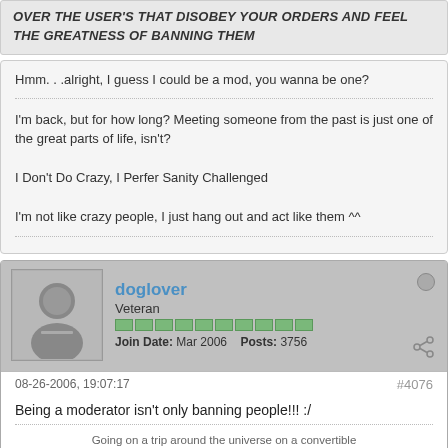OVER THE USER'S THAT DISOBEY YOUR ORDERS AND FEEL THE GREATNESS OF BANNING THEM
Hmm. . .alright, I guess I could be a mod, you wanna be one?
I'm back, but for how long? Meeting someone from the past is just one of the great parts of life, isn't?
I Don't Do Crazy, I Perfer Sanity Challenged
I'm not like crazy people, I just hang out and act like them ^^
doglover
Veteran
Join Date: Mar 2006   Posts: 3756
08-26-2006, 19:07:17
#4076
Being a moderator isn't only banning people!!! :/
Going on a trip around the universe on a convertible